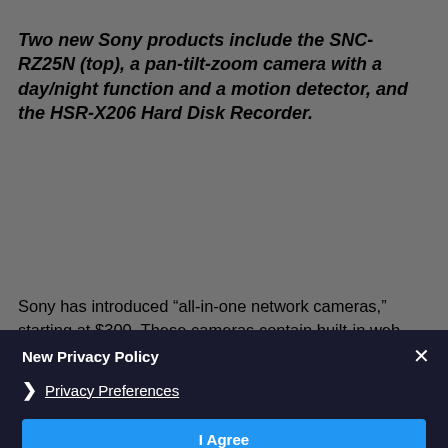Two new Sony products include the SNC-RZ25N (top), a pan-tilt-zoom camera with a day/night function and a motion detector, and the HSR-X206 Hard Disk Recorder.
Sony has introduced “all-in-one network cameras,” starting at $300. These cameras contain built-in web servers and network interfaces. When contacted by a PC using a standard web browser, these cameras allow for remote viewing. Sony’s SNC-RZ25N pan-tilt-zoom camera, priced at $1,600, has a day/night function that can be set to produce images in color during daylight conditions and clearer black-and-white ones at night. The camera, which is equipped with a motion detector, can be set to send an alarm email, with the resulting recorded image attached, to a specified email